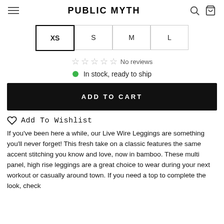PUBLIC MYTH
XS  S  M  L
☆ ☆ ☆ ☆ ☆  No reviews
● In stock, ready to ship
ADD TO CART
♡ Add To Wishlist
If you've been here a while, our Live Wire Leggings are something you'll never forget! This fresh take on a classic features the same accent stitching you know and love, now in bamboo. These multi panel, high rise leggings are a great choice to wear during your next workout or casually around town. If you need a top to complete the look, check